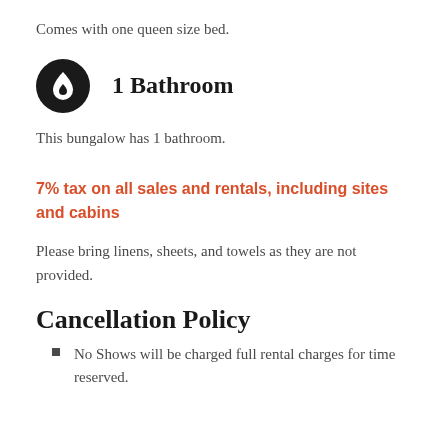Comes with one queen size bed.
1 Bathroom
This bungalow has 1 bathroom.
7% tax on all sales and rentals, including sites and cabins
Please bring linens, sheets, and towels as they are not provided.
Cancellation Policy
No Shows will be charged full rental charges for time reserved.